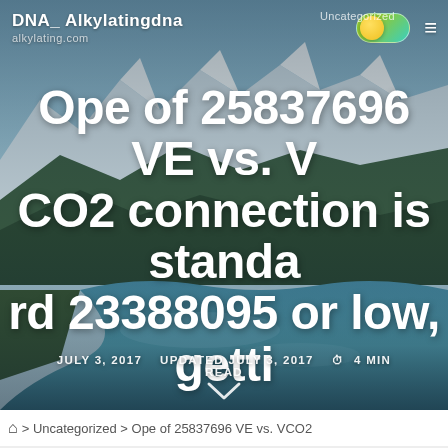DNA_ Alkylatingdna
alkylating.com
Ope of 25837696 VE vs. VCO2 connection is standard 23388095 or low, getting
JULY 3, 2017   UPDATED JULY 3, 2017   ⏱ 4 MIN READ
⌂ > Uncategorized > Ope of 25837696 VE vs. VCO2
[Figure (photo): Mountain landscape with river, snow-capped peaks, forest, and blue sky background serving as hero image]